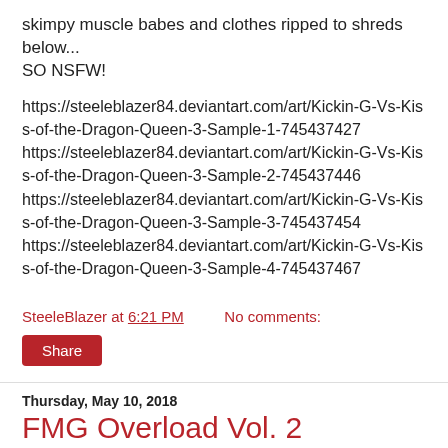skimpy muscle babes and clothes ripped to shreds below... SO NSFW!
https://steeleblazer84.deviantart.com/art/Kickin-G-Vs-Kiss-of-the-Dragon-Queen-3-Sample-1-745437427
https://steeleblazer84.deviantart.com/art/Kickin-G-Vs-Kiss-of-the-Dragon-Queen-3-Sample-2-745437446
https://steeleblazer84.deviantart.com/art/Kickin-G-Vs-Kiss-of-the-Dragon-Queen-3-Sample-3-745437454
https://steeleblazer84.deviantart.com/art/Kickin-G-Vs-Kiss-of-the-Dragon-Queen-3-Sample-4-745437467
SteeleBlazer at 6:21 PM   No comments:
Share
Thursday, May 10, 2018
FMG Overload Vol. 2
Prepare to overload again on Female Muscle Growth in this latest installment of FMG Overload!!! This is a big, big, big